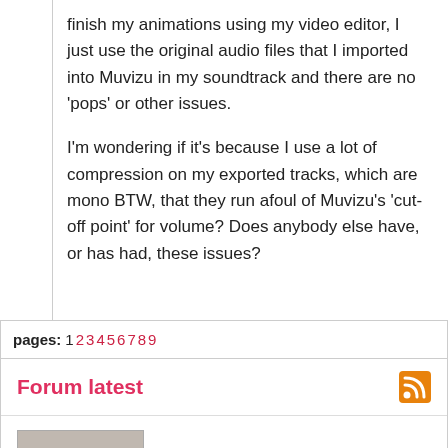finish my animations using my video editor, I just use the original audio files that I imported into Muvizu in my soundtrack and there are no 'pops' or other issues.

I'm wondering if it's because I use a lot of compression on my exported tracks, which are mono BTW, that they run afoul of Muvizu's 'cut-off point' for volume? Does anybody else have, or has had, these issues?
pages: 1 2 3 4 5 6 7 8 9
Forum latest
[Figure (photo): Avatar photo of a man in a suit with a mustache, pointing upward. Below the photo is a badge labeled 'Mogul'.]